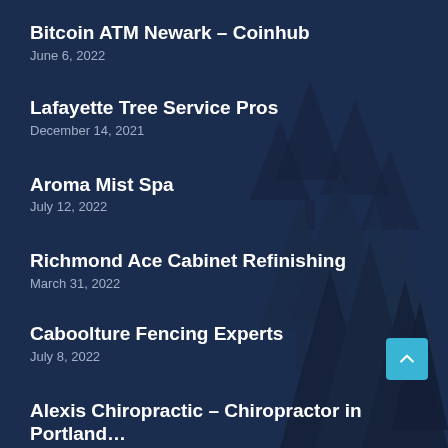[Figure (illustration): Dark navy blue background with silhouettes of pine trees, creating a forest landscape scene.]
Bitcoin ATM Newark – Coinhub
June 6, 2022
Lafayette Tree Service Pros
December 14, 2021
Aroma Mist Spa
July 12, 2022
Richmond Ace Cabinet Refinishing
March 31, 2022
Caboolture Fencing Experts
July 8, 2022
Alexis Chiropractic – Chiropractor in Portland…